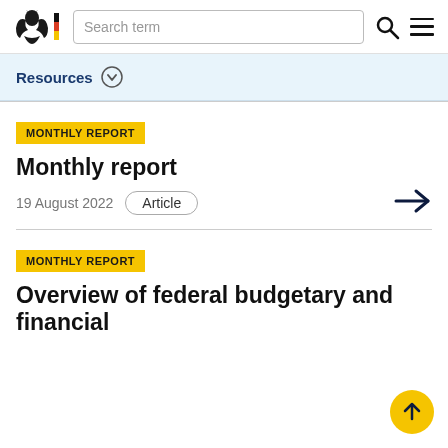Search term
Resources
MONTHLY REPORT
Monthly report
19 August 2022  Article
MONTHLY REPORT
Overview of federal budgetary and financial